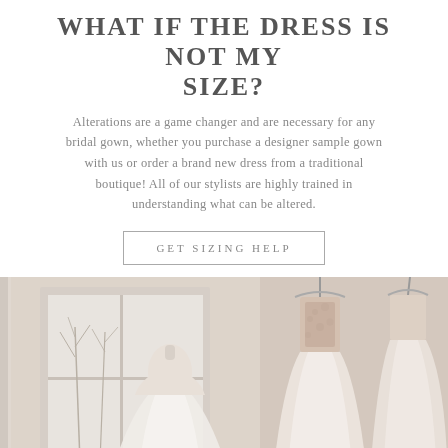WHAT IF THE DRESS IS NOT MY SIZE?
Alterations are a game changer and are necessary for any bridal gown, whether you purchase a designer sample gown with us or order a brand new dress from a traditional boutique! All of our stylists are highly trained in understanding what can be altered.
GET SIZING HELP
[Figure (photo): Interior of a bridal boutique showing wedding gowns on display — a dress on a mannequin near a window on the left, and ornate lace-detailed bridal gowns hanging on the right. Soft natural light fills the space giving a bright, airy ambiance.]